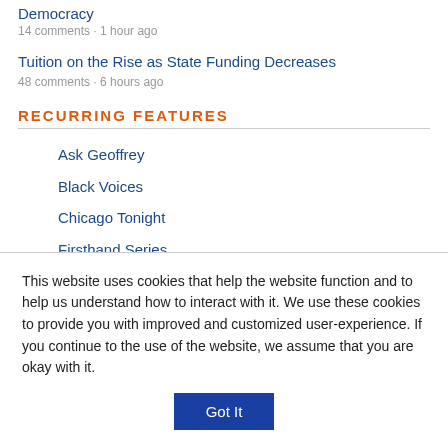Democracy
14 comments · 1 hour ago
Tuition on the Rise as State Funding Decreases
48 comments · 6 hours ago
RECURRING FEATURES
Ask Geoffrey
Black Voices
Chicago Tonight
Firsthand Series
This website uses cookies that help the website function and to help us understand how to interact with it. We use these cookies to provide you with improved and customized user-experience. If you continue to the use of the website, we assume that you are okay with it.
Got It